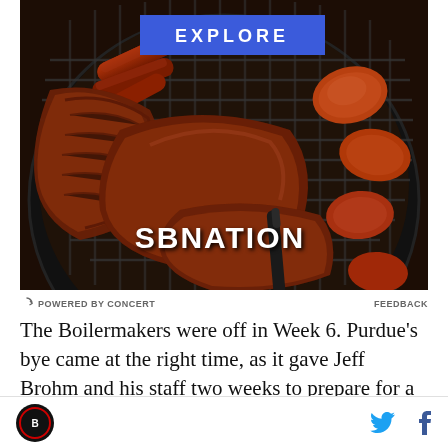[Figure (photo): Overhead view of a barbecue grill with various meats including ribs, sausages, and chicken pieces cooking on dark grill grates. SBNation logo overlaid at bottom center. Blue 'EXPLORE' banner at top center.]
⟳ POWERED BY CONCERT   FEEDBACK
The Boilermakers were off in Week 6. Purdue's bye came at the right time, as it gave Jeff Brohm and his staff two weeks to prepare for a huge road game at No.